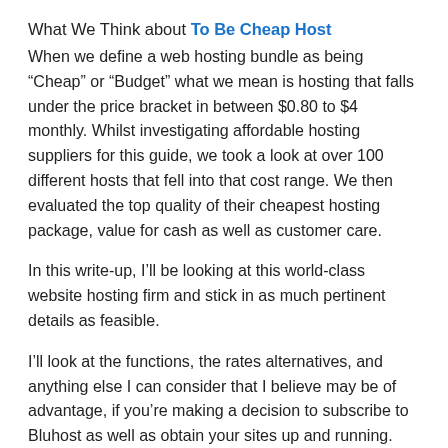What We Think about To Be Cheap Host
When we define a web hosting bundle as being “Cheap” or “Budget” what we mean is hosting that falls under the price bracket in between $0.80 to $4 monthly. Whilst investigating affordable hosting suppliers for this guide, we took a look at over 100 different hosts that fell into that cost range. We then evaluated the top quality of their cheapest hosting package, value for cash as well as customer care.
In this write-up, I’ll be looking at this world-class website hosting firm and stick in as much pertinent details as feasible.
I’ll look at the functions, the rates alternatives, and anything else I can consider that I believe may be of advantage, if you’re making a decision to subscribe to Bluhost as well as obtain your sites up and running.
So without further trouble, allow’s check it out.